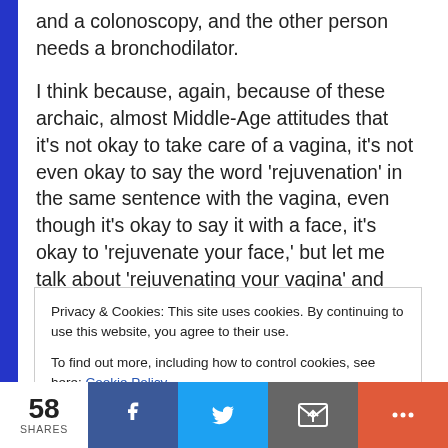and a colonoscopy, and the other person needs a bronchodilator.
I think because, again, because of these archaic, almost Middle-Age attitudes that it's not okay to take care of a vagina, it's not even okay to say the word 'rejuvenation' in the same sentence with the vagina, even though it's okay to say it with a face, it's okay to 'rejuvenate your face,' but let me talk about 'rejuvenating your vagina' and somehow I'm doing something ethically wrong, that's just archaic. In my opinion.
Privacy & Cookies: This site uses cookies. By continuing to use this website, you agree to their use.
To find out more, including how to control cookies, see here: Cookie Policy
58 SHARES